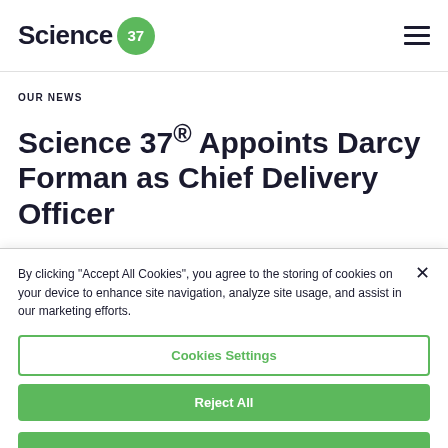Science 37
OUR NEWS
Science 37® Appoints Darcy Forman as Chief Delivery Officer
By clicking “Accept All Cookies”, you agree to the storing of cookies on your device to enhance site navigation, analyze site usage, and assist in our marketing efforts.
Cookies Settings
Reject All